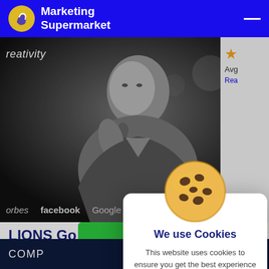Marketing Supermarket
[Figure (photo): Black and white photo of a man speaking at a microphone on stage, with logos for orbes (Forbes), facebook, and Google visible at the bottom]
reativity
orbes   facebook   Google
LIONS Go
Visit
Add to
COMP
[Figure (infographic): Cookie consent modal with a cookie emoji, title 'We use Cookies', description text, Learn more link, and Accept button]
We use Cookies
This website uses cookies to ensure you get the best experience on our website.
Learn more.
Accept